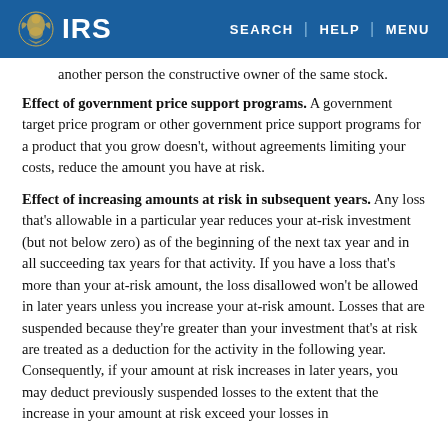IRS | SEARCH | HELP | MENU
another person the constructive owner of the same stock.
Effect of government price support programs. A government target price program or other government price support programs for a product that you grow doesn't, without agreements limiting your costs, reduce the amount you have at risk.
Effect of increasing amounts at risk in subsequent years. Any loss that's allowable in a particular year reduces your at-risk investment (but not below zero) as of the beginning of the next tax year and in all succeeding tax years for that activity. If you have a loss that's more than your at-risk amount, the loss disallowed won't be allowed in later years unless you increase your at-risk amount. Losses that are suspended because they're greater than your investment that's at risk are treated as a deduction for the activity in the following year. Consequently, if your amount at risk increases in later years, you may deduct previously suspended losses to the extent that the increase in your amount at risk exceed your losses in...